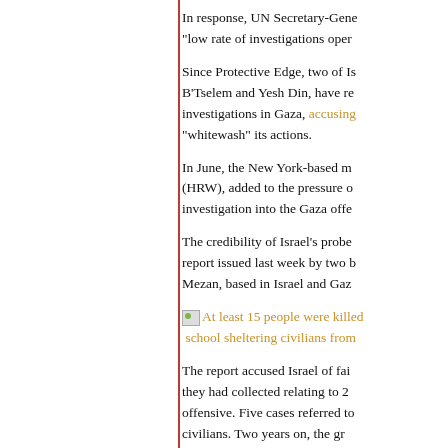In response, UN Secretary-Gene... "low rate of investigations oper...
Since Protective Edge, two of Is... B'Tselem and Yesh Din, have re... investigations in Gaza, accusing... "whitewash" its actions.
In June, the New York-based m... (HRW), added to the pressure o... investigation into the Gaza offe...
The credibility of Israel's probe... report issued last week by two b... Mezan, based in Israel and Gaz...
At least 15 people were killed... school sheltering civilians from...
The report accused Israel of fai... they had collected relating to 2... offensive. Five cases referred to... civilians. Two years on, the gr...